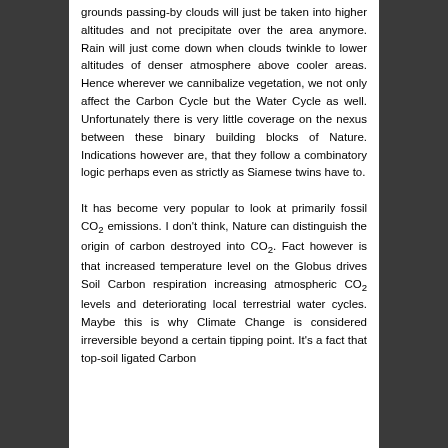grounds passing-by clouds will just be taken into higher altitudes and not precipitate over the area anymore. Rain will just come down when clouds twinkle to lower altitudes of denser atmosphere above cooler areas. Hence wherever we cannibalize vegetation, we not only affect the Carbon Cycle but the Water Cycle as well. Unfortunately there is very little coverage on the nexus between these binary building blocks of Nature. Indications however are, that they follow a combinatory logic perhaps even as strictly as Siamese twins have to.
It has become very popular to look at primarily fossil CO₂ emissions. I don't think, Nature can distinguish the origin of carbon destroyed into CO₂. Fact however is that increased temperature level on the Globus drives Soil Carbon respiration increasing atmospheric CO₂ levels and deteriorating local terrestrial water cycles. Maybe this is why Climate Change is considered irreversible beyond a certain tipping point. It's a fact that top-soil ligated Carbon